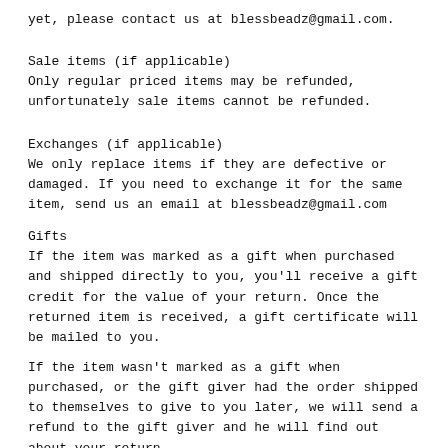yet, please contact us at blessbeadz@gmail.com.
Sale items (if applicable)
Only regular priced items may be refunded, unfortunately sale items cannot be refunded.
Exchanges (if applicable)
We only replace items if they are defective or damaged. If you need to exchange it for the same item, send us an email at blessbeadz@gmail.com
Gifts
If the item was marked as a gift when purchased and shipped directly to you, you'll receive a gift credit for the value of your return. Once the returned item is received, a gift certificate will be mailed to you.
If the item wasn't marked as a gift when purchased, or the gift giver had the order shipped to themselves to give to you later, we will send a refund to the gift giver and he will find out about your return.
Shipping
To return your product, you should mail your product to the address